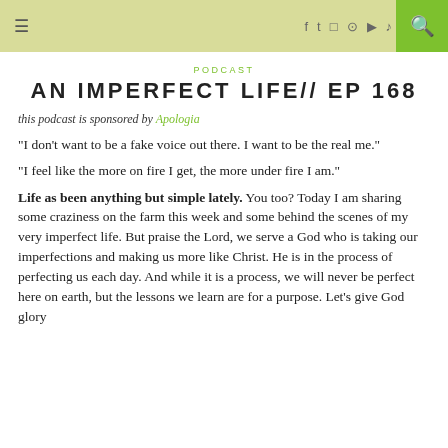≡  [social icons: f twitter instagram pinterest youtube soundcloud]  [search icon]
PODCAST
AN IMPERFECT LIFE// EP 168
this podcast is sponsored by Apologia
“I don’t want to be a fake voice out there. I want to be the real me.”
“I feel like the more on fire I get, the more under fire I am.”
Life as been anything but simple lately. You too? Today I am sharing some craziness on the farm this week and some behind the scenes of my very imperfect life. But praise the Lord, we serve a God who is taking our imperfections and making us more like Christ. He is in the process of perfecting us each day. And while it is a process, we will never be perfect here on earth, but the lessons we learn are for a purpose. Let’s give God glory